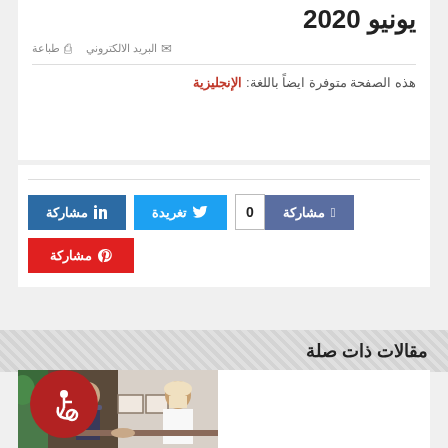يونيو 2020
طباعة   البريد الالكتروني
هذه الصفحة متوفرة ايضاً باللغة: الإنجليزية
مشاركة (Facebook) 0 | تغريدة (Twitter) | مشاركة (LinkedIn) | مشاركة (Pinterest)
مقالات ذات صلة
[Figure (photo): Two men in formal attire seated across a desk in an office, one in traditional Emirati dress and one in a suit, with framed portraits on the desk.]